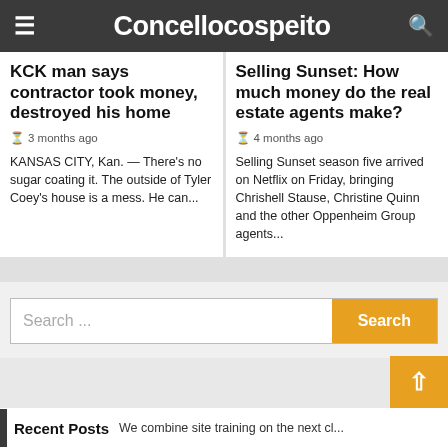Concellocospeito
KCK man says contractor took money, destroyed his home
3 months ago
KANSAS CITY, Kan. — There's no sugar coating it. The outside of Tyler Coey's house is a mess. He can...
Selling Sunset: How much money do the real estate agents make?
4 months ago
Selling Sunset season five arrived on Netflix on Friday, bringing Chrishell Stause, Christine Quinn and the other Oppenheim Group agents...